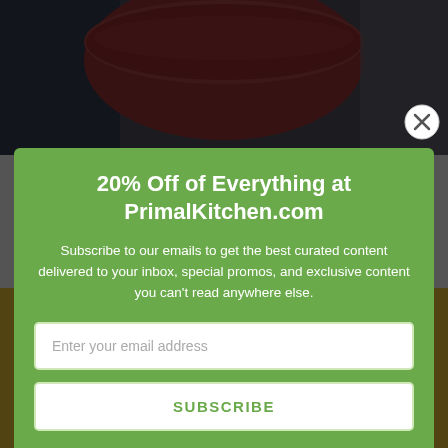[Figure (photo): Background photo split: top half shows a person holding a large red/pink mixing bowl, bottom half shows a person in an apron with a yellow/teal background. A semi-transparent overlay dims the background.]
20% Off of Everything at PrimalKitchen.com
Subscribe to our emails to get the best curated content delivered to your inbox, special promos, and exclusive content you can't read anywhere else.
Enter your email address
SUBSCRIBE